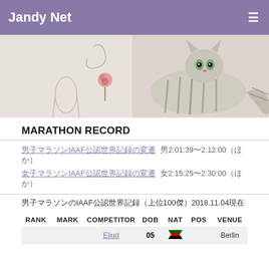Jandy Net
[Figure (photo): Banner photo of a tabby cat lying on a surface next to a glass vase with a pink rose]
MARATHON RECORD
男子マラソンIAAF公認世界記録の変遷  男2:01:39〜2:12:00（ほか）
女子マラソンIAAF公認世界記録の変遷  女2:15:25〜2:30:00（ほか）
男子マラソンのIAAF公認世界記録（上位100傑）2018.11.04現在
| RANK | MARK | COMPETITOR | DOB | NAT | POS | VENUE | DA |
| --- | --- | --- | --- | --- | --- | --- | --- |
|  |  | Eliud | 05 | 🇰🇪 |  | Berlin | 2 |